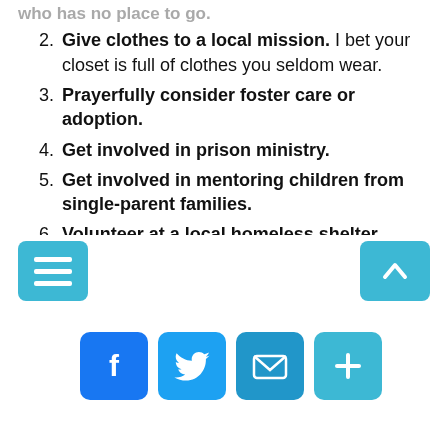2. Give clothes to a local mission. I bet your closet is full of clothes you seldom wear.
3. Prayerfully consider foster care or adoption.
4. Get involved in prison ministry.
5. Get involved in mentoring children from single-parent families.
6. Volunteer at a local homeless shelter.
7. Get involved with international ministries committed to helping the needy.
[Figure (infographic): Social sharing buttons: Facebook (blue), Twitter (light blue), Email (blue), Add/More (teal)]
[Figure (infographic): Bottom navigation bar with hamburger menu button (teal, left) and scroll-to-top button (teal, right)]